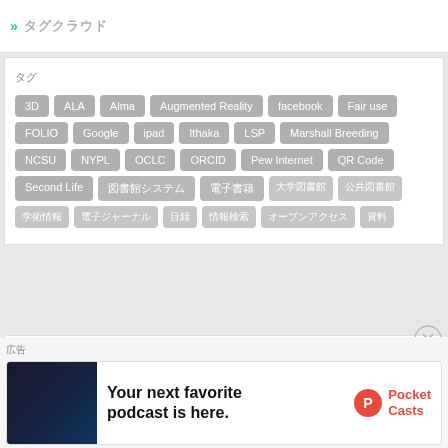» タグクラウド
タグ
3D, ALA, Alma, Augmented Reality, facebook, Fair use, FOLIO, Google, ipad, Ithaka, LSP, Marshall Breeding, NCSU, NYPL, OCLC, ORCID, Pew Internet, QR Code, Second Life, 図書館システム, 電子書籍, 大学図書館, 公共図書館, 学術情報, 電子ジャーナル, 目録, 情報検索, オープンアクセス, 資料
コメント
広告
[Figure (other): Pocket Casts advertisement banner: dark background app screenshot on left, text 'Your next favorite podcast is here.' in center, Pocket Casts logo on right]